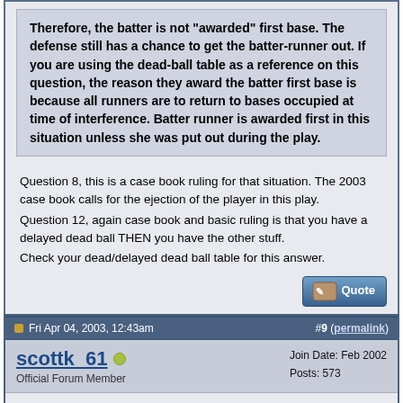Therefore, the batter is not "awarded" first base. The defense still has a chance to get the batter-runner out. If you are using the dead-ball table as a reference on this question, the reason they award the batter first base is because all runners are to return to bases occupied at time of interference. Batter runner is awarded first in this situation unless she was put out during the play.
Question 8, this is a case book ruling for that situation. The 2003 case book calls for the ejection of the player in this play. Question 12, again case book and basic ruling is that you have a delayed dead ball THEN you have the other stuff. Check your dead/delayed dead ball table for this answer.
Fri Apr 04, 2003, 12:43am  #9 (permalink)
scottk_61
Official Forum Member
Join Date: Feb 2002
Posts: 573
Quote:
Originally posted by Dakota
Nice effort & fun to take. One small suggestion for an improvement: combine the functions of "Next Question" and "Check Current Answer" - it is too